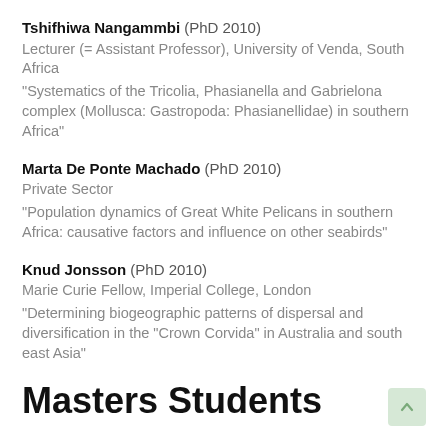Tshifhiwa Nangammbi (PhD 2010)
Lecturer (= Assistant Professor), University of Venda, South Africa
"Systematics of the Tricolia, Phasianella and Gabrielona complex (Mollusca: Gastropoda: Phasianellidae) in southern Africa"
Marta De Ponte Machado (PhD 2010)
Private Sector
"Population dynamics of Great White Pelicans in southern Africa: causative factors and influence on other seabirds"
Knud Jonsson (PhD 2010)
Marie Curie Fellow, Imperial College, London
"Determining biogeographic patterns of dispersal and diversification in the "Crown Corvida" in Australia and south east Asia"
Masters Students